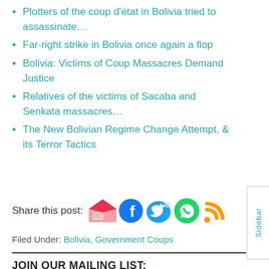Plotters of the coup d'état in Bolivia tried to assassinate…
Far-right strike in Bolivia once again a flop
Bolivia: Victims of Coup Massacres Demand Justice
Relatives of the victims of Sacaba and Senkata massacres…
The New Bolivian Regime Change Attempt, & its Terror Tactics
Share this post: [email icon] [facebook icon] [twitter icon] [whatsapp icon] [rss icon]
Filed Under: Bolivia, Government Coups
JOIN OUR MAILING LIST: